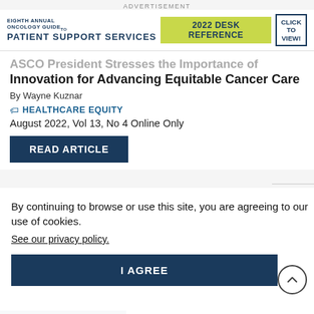ADVERTISEMENT
[Figure (other): Eighth Annual Oncology Guide to Patient Support Services — 2022 Desk Reference advertisement banner with 'CLICK TO VIEW!' button]
ASCO President Stresses the Importance of Innovation for Advancing Equitable Cancer Care
By Wayne Kuznar
HEALTHCARE EQUITY
August 2022, Vol 13, No 4 Online Only
READ ARTICLE
By continuing to browse or use this site, you are agreeing to our use of cookies. See our privacy policy.
I AGREE